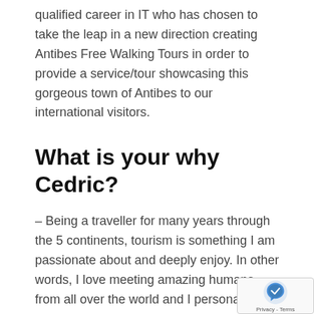qualified career in IT who has chosen to take the leap in a new direction creating Antibes Free Walking Tours in order to provide a service/tour showcasing this gorgeous town of Antibes to our international visitors.
What is your why Cedric?
– Being a traveller for many years through the 5 continents, tourism is something I am passionate about and deeply enjoy. In other words, I love meeting amazing humans from all over the world and I personally found walking tours a great concept of which was often the best way to discover a new town/area. Being of French decent and fluent in English, I want to give people an authentic French experience and make the most out of their visit.
– Above all, becoming a father has given me a fre...